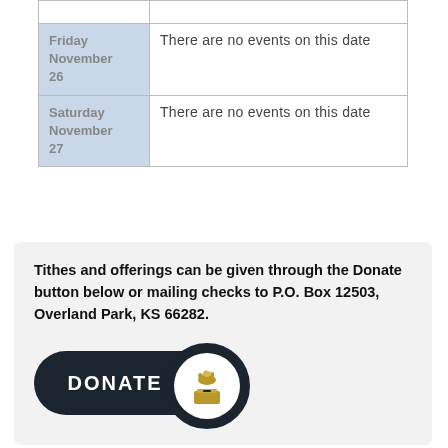| Date | Events |
| --- | --- |
| Friday November 26 | There are no events on this date |
| Saturday November 27 | There are no events on this date |
Tithes and offerings can be given through the Donate button below or mailing checks to P.O. Box 12503, Overland Park, KS 66282.
[Figure (illustration): A dark rounded pill-shaped DONATE button with a circular icon showing a hand dropping money into a donation box, in gold/tan colors on white background.]